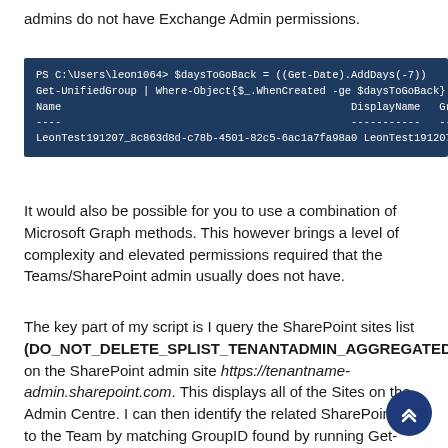admins do not have Exchange Admin permissions.
[Figure (screenshot): PowerShell console screenshot showing: PS C:\Users\leon1064> $daysToGoBack = ((Get-Date).AddDays(-7))
Get-UnifiedGroup | Where-Object{$_.WhenCreated -ge $daysToGoBack}
Name    DisplayName    GroupType
----    -----------    ---------
LeonTest191207_8c863d8d-c78b-4501-82c5-6ac1a7fa98a0 LeonTest191207 Universal]
It would also be possible for you to use a combination of Microsoft Graph methods. This however brings a level of complexity and elevated permissions required that the Teams/SharePoint admin usually does not have.
The key part of my script is I query the SharePoint sites list (DO_NOT_DELETE_SPLIST_TENANTADMIN_AGGREGATED_SITECOLLECTIONS) on the SharePoint admin site https://tenantname-admin.sharepoint.com. This displays all of the Sites on the Admin Centre. I can then identify the related SharePoint site to the Team by matching GroupID found by running Get-Team. The related